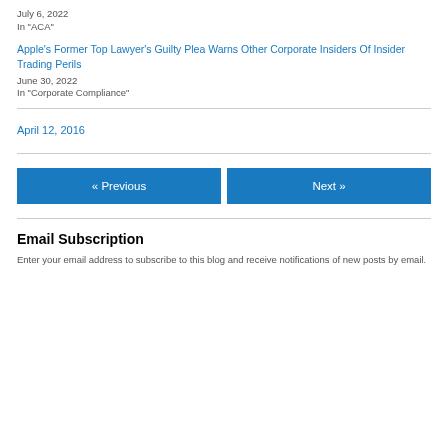July 6, 2022
In "ACA"
Apple's Former Top Lawyer's Guilty Plea Warns Other Corporate Insiders Of Insider Trading Perils
June 30, 2022
In "Corporate Compliance"
April 12, 2016
« Previous
Next »
Email Subscription
Enter your email address to subscribe to this blog and receive notifications of new posts by email.